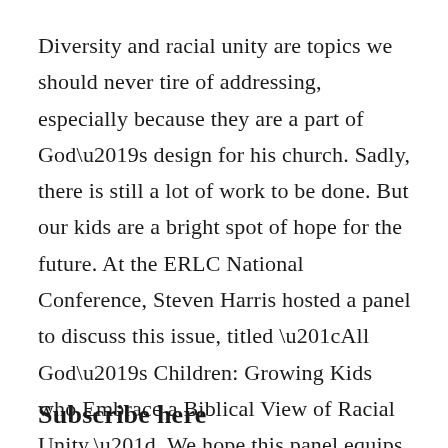Diversity and racial unity are topics we should never tire of addressing, especially because they are a part of God's design for his church. Sadly, there is still a lot of work to be done. But our kids are a bright spot of hope for the future. At the ERLC National Conference, Steven Harris hosted a panel to discuss this issue, titled “All God’s Children: Growing Kids who Embrace a Biblical View of Racial Unity.” We hope this panel equips you to more effectively disciple your children.
Subscribe here